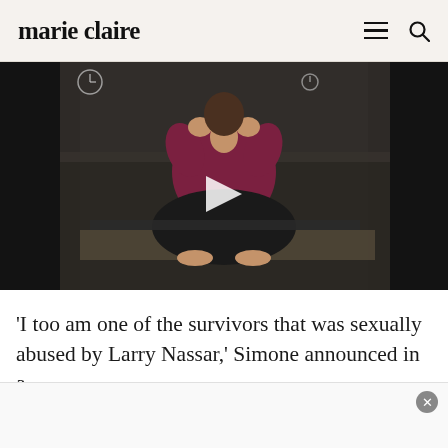marie claire
[Figure (photo): Video thumbnail showing a person seated cross-legged on a yoga mat in a dark room, wearing a dark red/maroon tank top and black pants, hands raised near chest. A white play button triangle is overlaid in the center of the image.]
'I too am one of the survivors that was sexually abused by Larry Nassar,' Simone announced in a